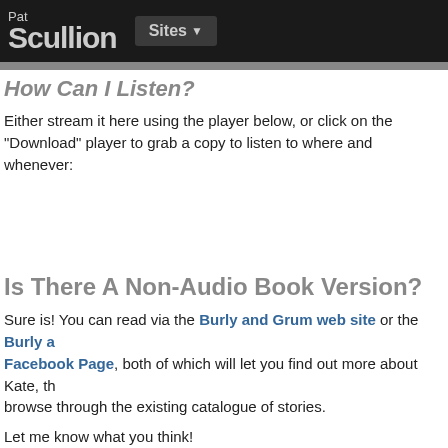Pat Scullion  Sites
How Can I Listen?
Either stream it here using the player below, or click on the "Download" player to grab a copy to listen to where and whenever:
Is There A Non-Audio Book Version?
Sure is! You can read via the Burly and Grum web site or the Burly and Grum Facebook Page, both of which will let you find out more about Kate, th... browse through the existing catalogue of stories.
Let me know what you think!